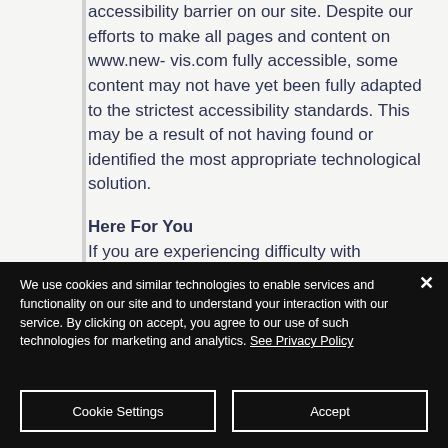accessibility barrier on our site. Despite our efforts to make all pages and content on www.new-vis.com fully accessible, some content may not have yet been fully adapted to the strictest accessibility standards. This may be a result of not having found or identified the most appropriate technological solution.
Here For You
If you are experiencing difficulty with
We use cookies and similar technologies to enable services and functionality on our site and to understand your interaction with our service. By clicking on accept, you agree to our use of such technologies for marketing and analytics. See Privacy Policy
Cookie Settings
Accept